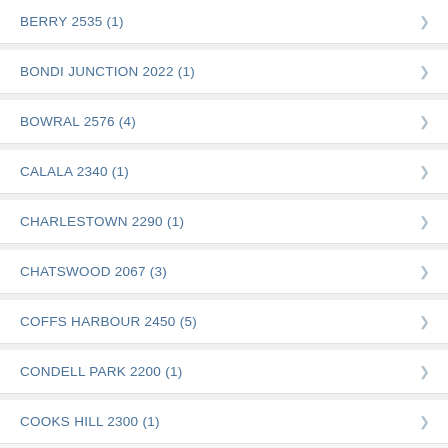BERRY  2535 (1)
BONDI JUNCTION  2022 (1)
BOWRAL  2576 (4)
CALALA  2340 (1)
CHARLESTOWN  2290 (1)
CHATSWOOD  2067 (3)
COFFS HARBOUR  2450 (5)
CONDELL PARK  2200 (1)
COOKS HILL  2300 (1)